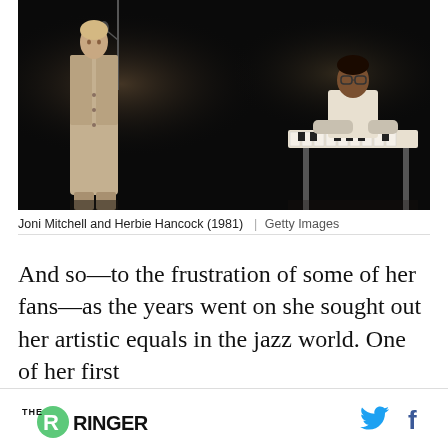[Figure (photo): Black and white concert photo of Joni Mitchell standing at a microphone on stage, and Herbie Hancock seated at a keyboard/piano in the background, taken in 1981.]
Joni Mitchell and Herbie Hancock (1981)  |  Getty Images
And so—to the frustration of some of her fans—as the years went on she sought out her artistic equals in the jazz world. One of her first
THE RINGER